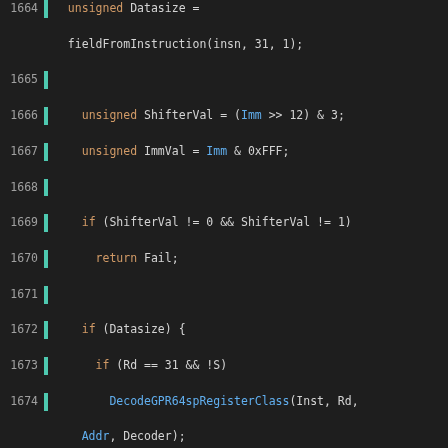[Figure (screenshot): Source code listing (C++) showing lines 1664-1688 of a decoder implementation with syntax highlighting. Dark background IDE/editor style. Orange keywords, blue function/type names, white/gray default text.]